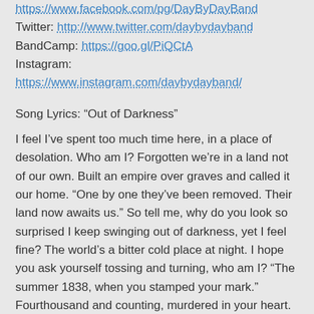https://www.facebook.com/pg/DayByDayBand
Twitter: http://www.twitter.com/daybydayband
BandCamp: https://goo.gl/PiQCtA
Instagram: https://www.instagram.com/daybydayband/
Song Lyrics: “Out of Darkness”
I feel I’ve spent too much time here, in a place of desolation. Who am I? Forgotten we’re in a land not of our own. Built an empire over graves and called it our home. “One by one they’ve been removed. Their land now awaits us.” So tell me, why do you look so surprised I keep swinging out of darkness, yet I feel fine? The world’s a bitter cold place at night. I hope you ask yourself tossing and turning, who am I? “The summer 1838, when you stamped your mark.” Fourthousand and counting, murdered in your heart.